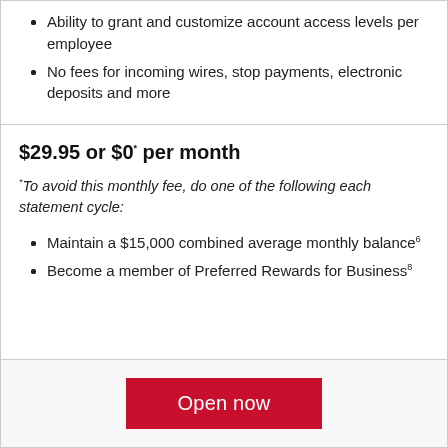Ability to grant and customize account access levels per employee
No fees for incoming wires, stop payments, electronic deposits and more
$29.95 or $0* per month
*To avoid this monthly fee, do one of the following each statement cycle:
Maintain a $15,000 combined average monthly balance⁶
Become a member of Preferred Rewards for Business⁸
Open now